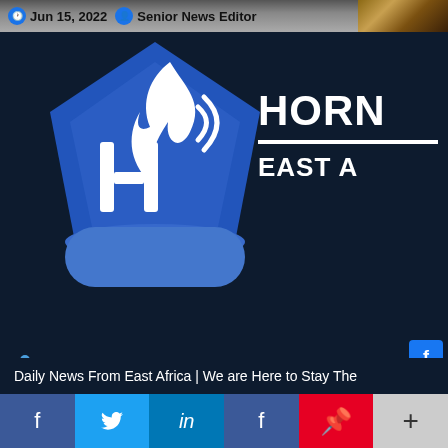Jun 15, 2022  Senior News Editor
[Figure (logo): Horn Diplomat logo — blue pentagon shape with HD letters and flame icon]
HORN EAST A
• nav dot 1
• nav dot 2
• nav dot 3
Daily News From East Africa | We are Here to Stay The
f  t  in  f  p  +